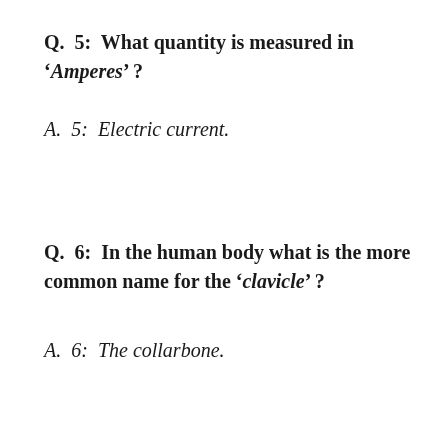Q.  5:  What quantity is measured in 'Amperes' ?
A.  5:  Electric current.
Q.  6:  In the human body what is the more common name for the 'clavicle' ?
A.  6:  The collarbone.